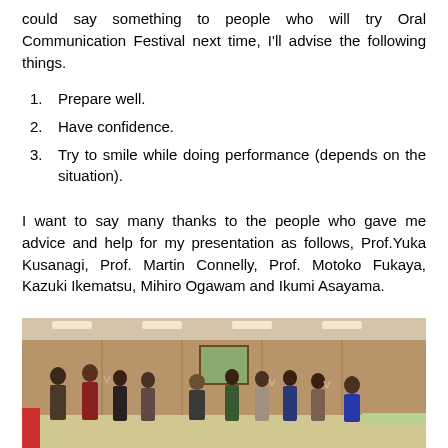could say something to people who will try Oral Communication Festival next time, I'll advise the following things.
Prepare well.
Have confidence.
Try to smile while doing performance (depends on the situation).
I want to say many thanks to the people who gave me advice and help for my presentation as follows, Prof.Yuka Kusanagi, Prof. Martin Connelly, Prof. Motoko Fukaya, Kazuki Ikematsu, Mihiro Ogawam and Ikumi Asayama.
[Figure (photo): Group photo of approximately 9-10 students and a professor standing together in a room with wood-paneled walls and ceiling lights, some making peace signs with their hands.]